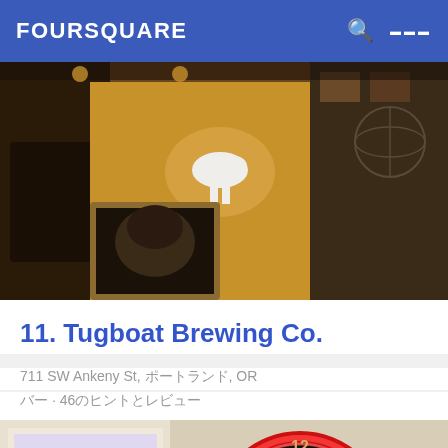FOURSQUARE
[Figure (photo): Interior bar photo showing a person in a yellow t-shirt with a goat/unicorn graphic, bar interior with framed artwork]
11. Tugboat Brewing Co.
711 SW Ankeny St, ポートランド, OR
バー · 46のヒントとレビュー
[Figure (photo): Interior photo showing a round neon sign reading EST 1941, with illuminated red neon border, and decorative artwork visible on left wall]